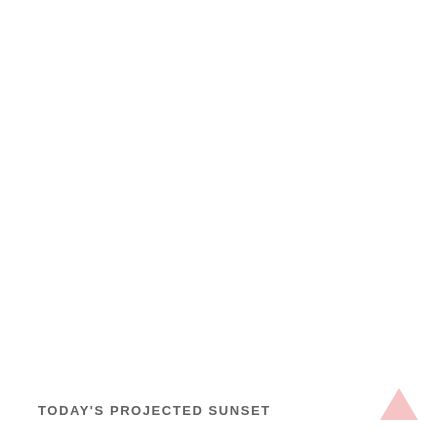[Figure (illustration): Small light pink upward-pointing triangle icon in the bottom-right area of the page]
TODAY'S PROJECTED SUNSET